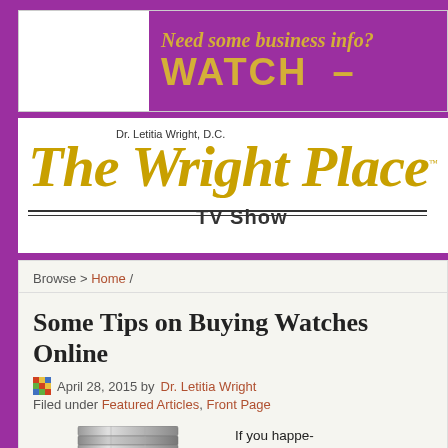[Figure (other): Advertisement banner with purple background: 'Need some business info? WATCH' in gold text]
[Figure (logo): The Wright Place TV Show logo with Dr. Letitia Wright D.C. in gold script]
Browse > Home /
Some Tips on Buying Watches Online
April 28, 2015 by Dr. Letitia Wright
Filed under Featured Articles, Front Page
[Figure (photo): Close-up photo of a silver chronograph watch with metal bracelet]
If you happe- buying watc- it really is a g- can be sure watches, as online. Also-